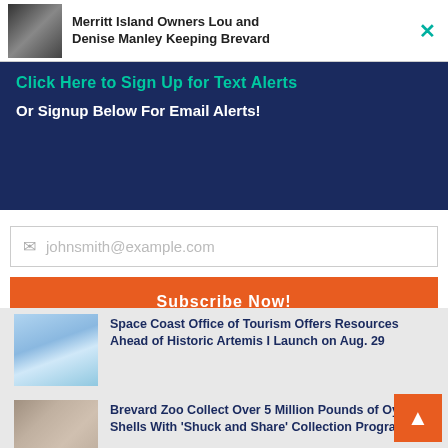Merritt Island Owners Lou and Denise Manley Keeping Brevard
Click Here to Sign Up for Text Alerts
Or Signup Below For Email Alerts!
johnsmith@example.com
Subscribe Now!
Space Coast Office of Tourism Offers Resources Ahead of Historic Artemis I Launch on Aug. 29
Brevard Zoo Collect Over 5 Million Pounds of Oyster Shells With ‘Shuck and Share’ Collection Program
NASA Prepares for World’s First Planetary Defense Test Against Asteroid Sept. 26
Palm Bay Fire Rescue Begins Construction on New Training Facility and Burn Building